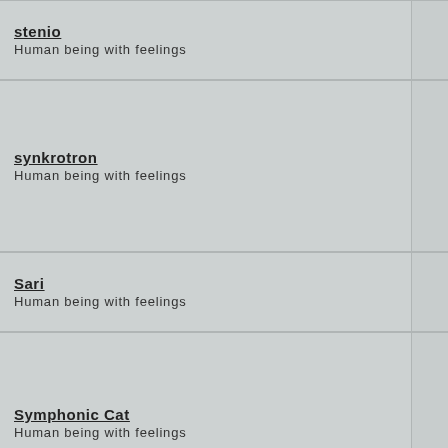stenio
Human being with feelings
synkrotron
Human being with feelings
Sari
Human being with feelings
Symphonic Cat
Human being with feelings
sandwichTiger
Human being with feelings